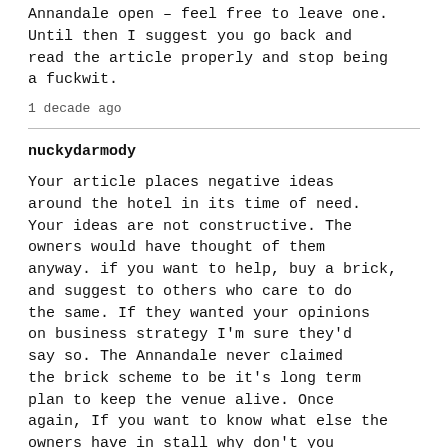Annandale open – feel free to leave one. Until then I suggest you go back and read the article properly and stop being a fuckwit.
1 decade ago
nuckydarmody
Your article places negative ideas around the hotel in its time of need. Your ideas are not constructive. The owners would have thought of them anyway. if you want to help, buy a brick, and suggest to others who care to do the same. If they wanted your opinions on business strategy I'm sure they'd say so. The Annandale never claimed the brick scheme to be it's long term plan to keep the venue alive. Once again, If you want to know what else the owners have in stall why don't you touch base with them.
1. The venue shouldn't have to suffer